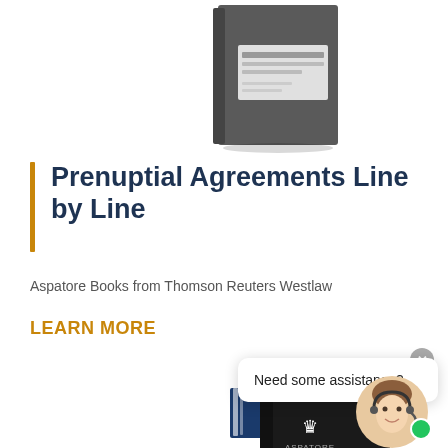[Figure (illustration): Grey hardcover book shown from an angle at the top of the page]
Prenuptial Agreements Line by Line
Aspatore Books from Thomson Reuters Westlaw
LEARN MORE
[Figure (illustration): Blue book and black Aspatore hardcover book shown at the bottom, with a chat popup overlay reading 'Need some assistance?' and an agent photo in the corner]